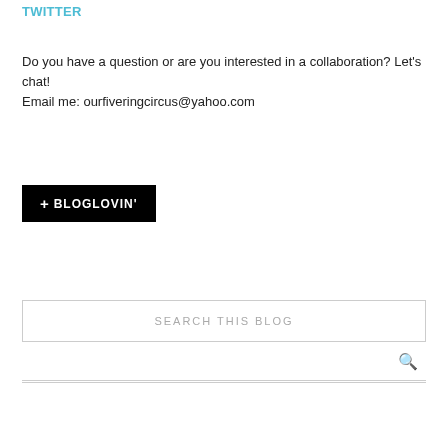TWITTER
Do you have a question or are you interested in a collaboration? Let's chat!
Email me: ourfiveringcircus@yahoo.com
[Figure (logo): + BLOGLOVIN' button (black background, white text)]
SEARCH THIS BLOG